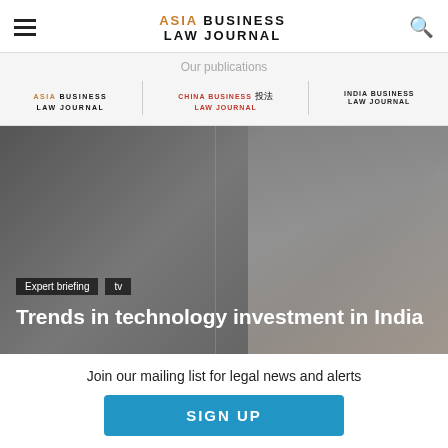ASIA BUSINESS LAW JOURNAL
Our publications
[Figure (logo): Three publication logos: ASIA BUSINESS LAW JOURNAL, CHINA BUSINESS LAW JOURNAL, INDIA BUSINESS LAW JOURNAL]
[Figure (photo): Hero image with dark overlay showing an Indian cityscape or landmark in misty/foggy conditions]
Expert briefing  tv
Trends in technology investment in India
Join our mailing list for legal news and alerts
SIGN UP